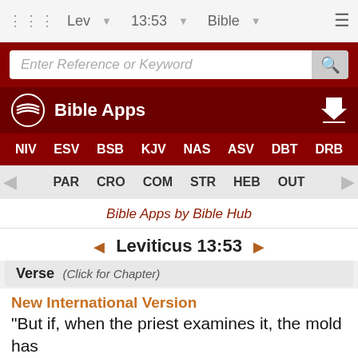Lev  13:53  Bible
Enter Reference or Keyword
Bible Apps
NIV  ESV  BSB  KJV  NAS  ASV  DBT  DRB
PAR  CRO  COM  STR  HEB  OUT
Bible Apps by Bible Hub
Leviticus 13:53
Verse  (Click for Chapter)
New International Version
"But if, when the priest examines it, the mold has